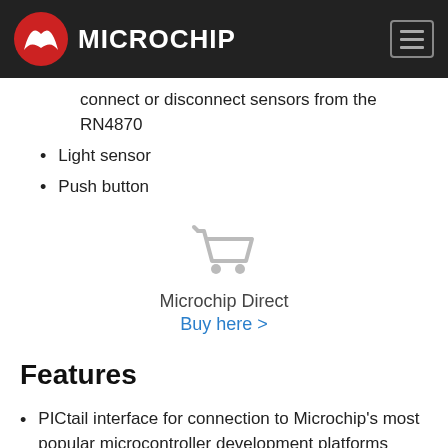Microchip
connect or disconnect sensors from the RN4870
Light sensor
Push button
[Figure (illustration): Shopping cart icon with Microchip Direct label and Buy here link]
Features
PICtail interface for connection to Microchip's most popular microcontroller development platforms